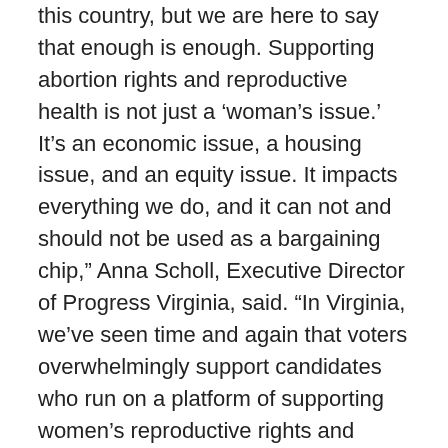this country, but we are here to say that enough is enough. Supporting abortion rights and reproductive health is not just a ‘woman’s issue.’ It’s an economic issue, a housing issue, and an equity issue. It impacts everything we do, and it can not and should not be used as a bargaining chip,” Anna Scholl, Executive Director of Progress Virginia, said. “In Virginia, we’ve seen time and again that voters overwhelmingly support candidates who run on a platform of supporting women’s reproductive rights and abortion access. We encourage members of the DNC to follow Virginia’s lead and only support candidates who strongly support reproductive rights and freedom for all.”
Yesterday, over 300 people from across the